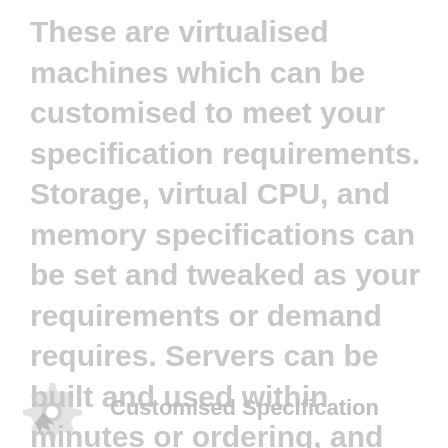These are virtualised machines which can be customised to meet your specification requirements. Storage, virtual CPU, and memory specifications can be set and tweaked as your requirements or demand requires. Servers can be built and used within minutes or ordering, and can feature our control panel with no additional charge if you want to simplify the security and account management.
[Figure (illustration): Small gear/settings icon in light grey]
Customised Specification